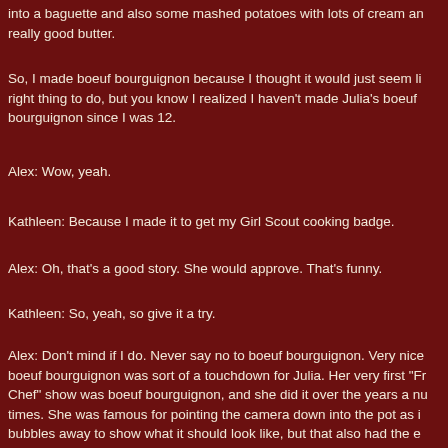into a baguette and also some mashed potatoes with lots of cream and really good butter.
So, I made boeuf bourguignon because I thought it would just seem like the right thing to do, but you know I realized I haven't made Julia's boeuf bourguignon since I was 12.
Alex: Wow, yeah.
Kathleen: Because I made it to get my Girl Scout cooking badge.
Alex: Oh, that's a good story. She would approve. That's funny.
Kathleen: So, yeah, so give it a try.
Alex: Don't mind if I do. Never say no to boeuf bourguignon. Very nice. boeuf bourguignon was sort of a touchdown for Julia. Her very first "French Chef" show was boeuf bourguignon, and she did it over the years a number of times. She was famous for pointing the camera down into the pot as it bubbles away to show what it should look like, but that also had the effect of activating your taste buds as the viewer. I say in the book, it makes you want to dive to the television and have a bite of the delicious stew. And growing up, spending time with her, boeuf bourguignon was always in the background, so very appropriate.
Kathleen: It's funny, even though it would have been in black and white, because the first shows were.
Alex: Yeah, correct.
Kathleen: Yeah, and I had never noticed until I read it in the book that...